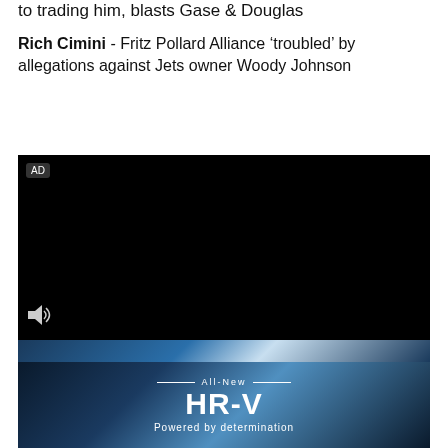to trading him, blasts Gase & Douglas
Rich Cimini - Fritz Pollard Alliance ‘troubled’ by allegations against Jets owner Woody Johnson
[Figure (other): Black video player with AD label in top-left corner and volume/speaker icon in bottom-left corner. Below the video player is a blue gradient bar, followed by a Honda HR-V advertisement showing 'All-New HR-V Powered by determination' text on a dark blue abstract background.]